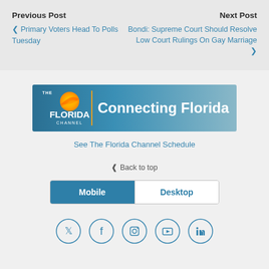Previous Post
< Primary Voters Head To Polls Tuesday
Next Post
Bondi: Supreme Court Should Resolve Low Court Rulings On Gay Marriage >
[Figure (logo): The Florida Channel banner with logo and 'Connecting Florida' text]
See The Florida Channel Schedule
^ Back to top
Mobile | Desktop
[Figure (other): Social media icons: Twitter, Facebook, Instagram, YouTube, LinkedIn]